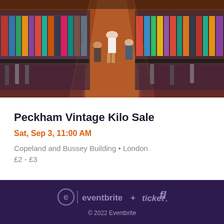[Figure (photo): Overhead view of a vintage clothing sale with long rows of clothes on racks, people browsing, wooden floor visible in the center aisle]
Peckham Vintage Kilo Sale
Sat, Sep 3, 11:00 AM
Copeland and Bussey Building • London
£2 - £3
eventbrite + ticketfly © 2022 Eventbrite